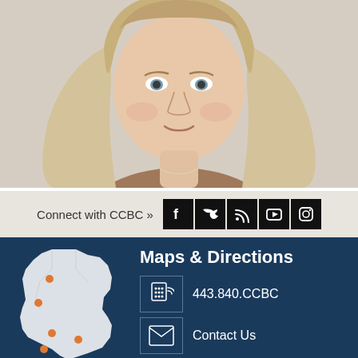[Figure (photo): Portrait photo of a young woman with long blonde hair wearing a light green top, smiling slightly, against a neutral background]
Connect with CCBC »
[Figure (infographic): Social media icons: Facebook, Twitter, RSS feed, YouTube, Instagram — white icons on black square backgrounds]
[Figure (map): White outline map of Baltimore County Maryland with orange dots marking CCBC campus locations, on dark navy blue background]
Maps & Directions
443.840.CCBC
Contact Us